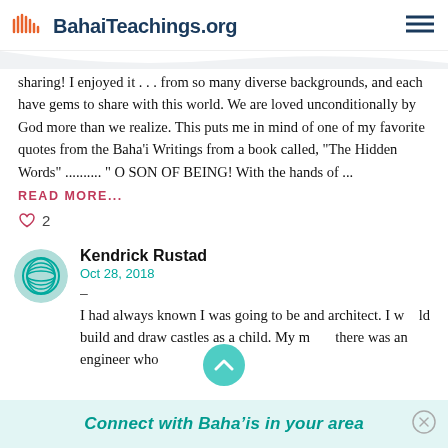BahaiTeachings.org
sharing! I enjoyed it . . . from so many diverse backgrounds, and each have gems to share with this world. We are loved unconditionally by God more than we realize. This puts me in mind of one of my favorite quotes from the Baha'i Writings from a book called, "The Hidden Words" .......... " O SON OF BEING! With the hands of ...
READ MORE...
♡ 2
Kendrick Rustad
Oct 28, 2018
–
I had always known I was going to be and architect. I would build and draw castles as a child. My mom, there was an engineer who...
Connect with Baha'is in your area